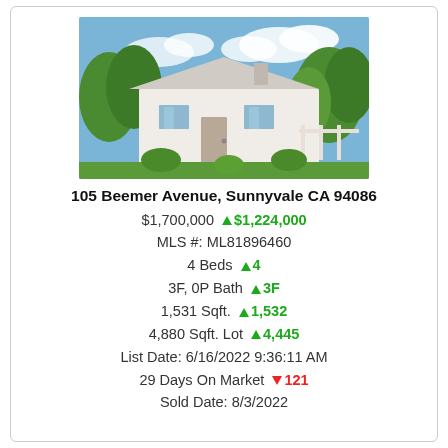[Figure (photo): Exterior photo of a single-story white house with lush garden landscaping, trees, and a pathway, under a blue sky.]
105 Beemer Avenue, Sunnyvale CA 94086
$1,700,000  ▲ $1,224,000
MLS #: ML81896460
4 Beds  ▲ 4
3F, 0P Bath  ▲ 3F
1,531 Sqft.  ▲ 1,532
4,880 Sqft. Lot  ▲ 4,445
List Date: 6/16/2022 9:36:11 AM
29 Days On Market  ▼ 121
Sold Date: 8/3/2022